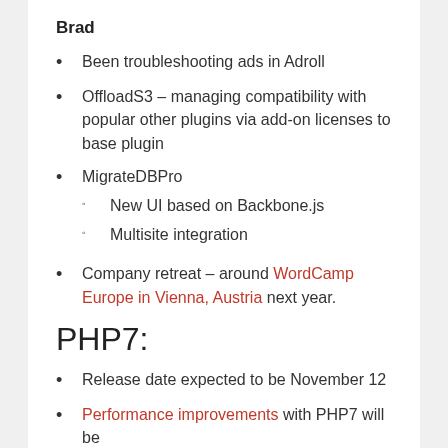Brad
Been troubleshooting ads in Adroll
OffloadS3 – managing compatibility with popular other plugins via add-on licenses to base plugin
MigrateDBPro
New UI based on Backbone.js
Multisite integration
Company retreat – around WordCamp Europe in Vienna, Austria next year.
PHP7:
Release date expected to be November 12
Performance improvements with PHP7 will be